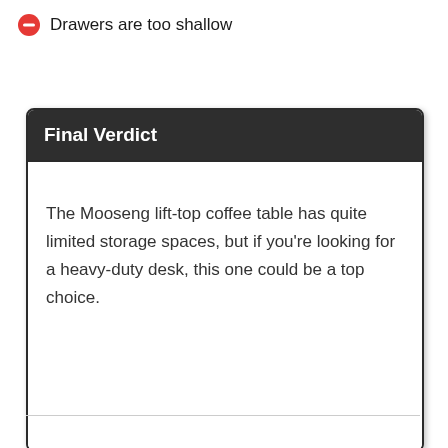Drawers are too shallow
Final Verdict
The Mooseng lift-top coffee table has quite limited storage spaces, but if you're looking for a heavy-duty desk, this one could be a top choice.